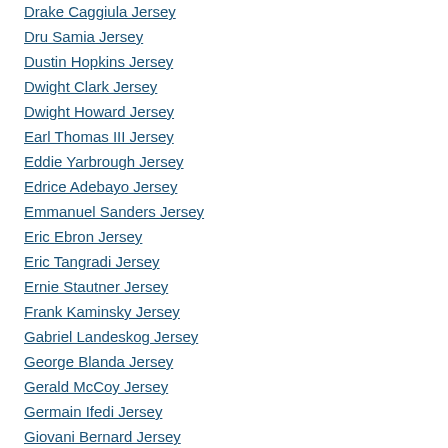Drake Caggiula Jersey
Dru Samia Jersey
Dustin Hopkins Jersey
Dwight Clark Jersey
Dwight Howard Jersey
Earl Thomas III Jersey
Eddie Yarbrough Jersey
Edrice Adebayo Jersey
Emmanuel Sanders Jersey
Eric Ebron Jersey
Eric Tangradi Jersey
Ernie Stautner Jersey
Frank Kaminsky Jersey
Gabriel Landeskog Jersey
George Blanda Jersey
Gerald McCoy Jersey
Germain Ifedi Jersey
Giovani Bernard Jersey